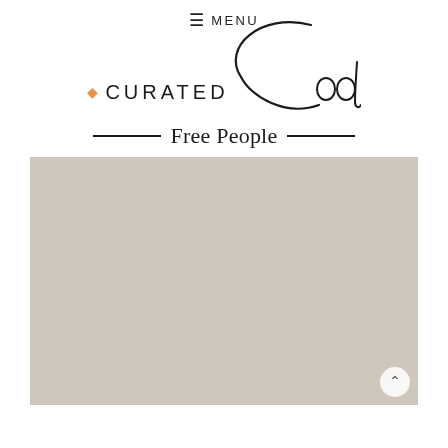≡ MENU
[Figure (logo): Curated Cool logo with orange diamond bullet, 'CURATED' in spaced sans-serif uppercase, and 'Cool' in large cursive/script font]
Free People
[Figure (photo): Large beige/taupe colored photo placeholder area, image content not visible (loading or placeholder). Small circular scroll-to-top button at bottom right.]